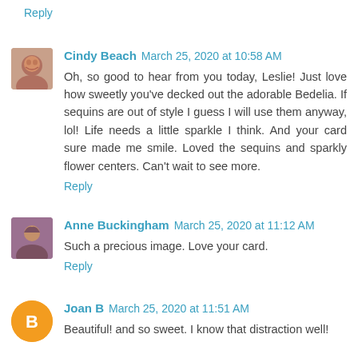Reply
[Figure (photo): Avatar photo of Cindy Beach, a woman smiling]
Cindy Beach March 25, 2020 at 10:58 AM
Oh, so good to hear from you today, Leslie! Just love how sweetly you've decked out the adorable Bedelia. If sequins are out of style I guess I will use them anyway, lol! Life needs a little sparkle I think. And your card sure made me smile. Loved the sequins and sparkly flower centers. Can't wait to see more.
Reply
[Figure (photo): Avatar photo of Anne Buckingham, a woman]
Anne Buckingham March 25, 2020 at 11:12 AM
Such a precious image. Love your card.
Reply
[Figure (illustration): Blogger orange circle avatar icon with letter B for Joan B]
Joan B March 25, 2020 at 11:51 AM
Beautiful! and so sweet. I know that distraction well!